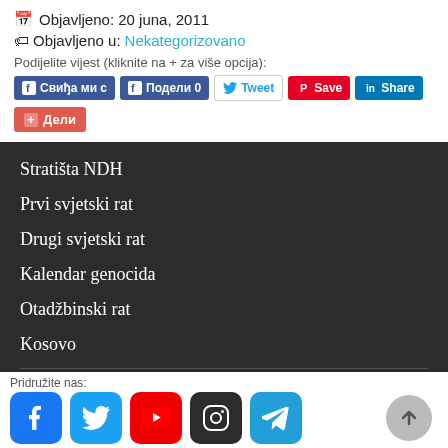🗓 Objavljeno: 20 juna, 2011
🏷 Objavljeno u: Nekategorizovano
Podijelite vijest (kliknite na + za više opcija):
Свиђа ми с | Подели 0 | Tweet | Save | Share | Дели
Stratišta NDH
Prvi svjetski rat
Drugi svjetski rat
Kalendar genocida
Otadžbinski rat
Kosovo
FOTO I VIDEO
Video
Pridružite nas: (social icons) Stratigrafst Srbija NDH (1941-1945)